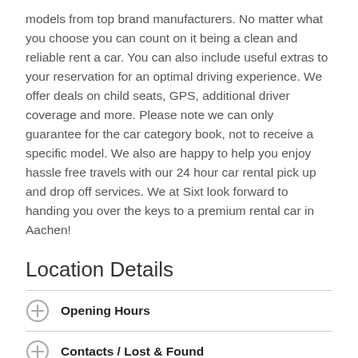models from top brand manufacturers. No matter what you choose you can count on it being a clean and reliable rent a car. You can also include useful extras to your reservation for an optimal driving experience. We offer deals on child seats, GPS, additional driver coverage and more. Please note we can only guarantee for the car category book, not to receive a specific model. We also are happy to help you enjoy hassle free travels with our 24 hour car rental pick up and drop off services. We at Sixt look forward to handing you over the keys to a premium rental car in Aachen!
Location Details
Opening Hours
Contacts / Lost & Found
Location plan - how to find us